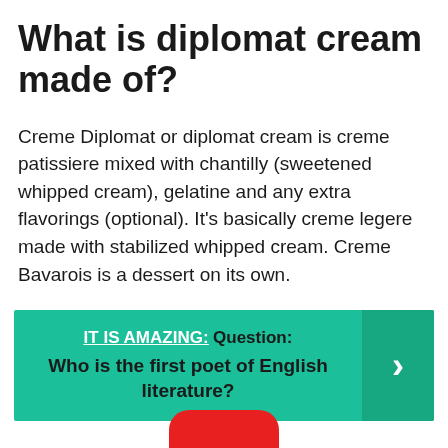What is diplomat cream made of?
Creme Diplomat or diplomat cream is creme patissiere mixed with chantilly (sweetened whipped cream), gelatine and any extra flavorings (optional). It’s basically creme legere made with stabilized whipped cream. Creme Bavarois is a dessert on its own.
IT IS AMAZING:  Question: Who is the first poet of English literature?